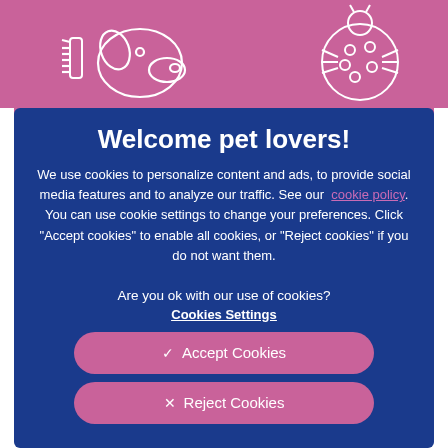[Figure (illustration): Pink/mauve background header with white line drawings of a dog being groomed and a tick/bug insect on the right side]
Welcome pet lovers!
We use cookies to personalize content and ads, to provide social media features and to analyze our traffic. See our cookie policy. You can use cookie settings to change your preferences. Click "Accept cookies" to enable all cookies, or "Reject cookies" if you do not want them.
Are you ok with our use of cookies?
Cookies Settings
✓  Accept Cookies
✕  Reject Cookies